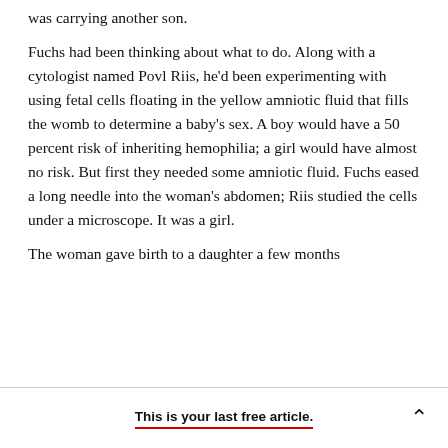was carrying another son.
Fuchs had been thinking about what to do. Along with a cytologist named Povl Riis, he'd been experimenting with using fetal cells floating in the yellow amniotic fluid that fills the womb to determine a baby's sex. A boy would have a 50 percent risk of inheriting hemophilia; a girl would have almost no risk. But first they needed some amniotic fluid. Fuchs eased a long needle into the woman's abdomen; Riis studied the cells under a microscope. It was a girl.
The woman gave birth to a daughter a few months
This is your last free article.